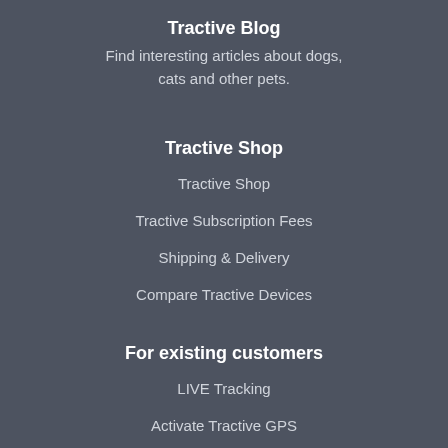Tractive Blog
Find interesting articles about dogs, cats and other pets.
Tractive Shop
Tractive Shop
Tractive Subscription Fees
Shipping & Delivery
Compare Tractive Devices
For existing customers
LIVE Tracking
Activate Tractive GPS
Customer Service
About Tractive